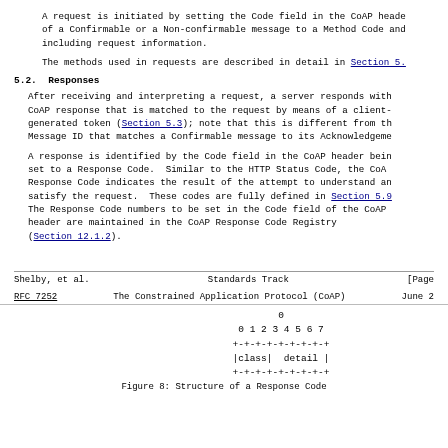A request is initiated by setting the Code field in the CoAP header of a Confirmable or a Non-confirmable message to a Method Code and including request information.
The methods used in requests are described in detail in Section 5.
5.2.  Responses
After receiving and interpreting a request, a server responds with a CoAP response that is matched to the request by means of a client-generated token (Section 5.3); note that this is different from the Message ID that matches a Confirmable message to its Acknowledgement.
A response is identified by the Code field in the CoAP header being set to a Response Code.  Similar to the HTTP Status Code, the CoAP Response Code indicates the result of the attempt to understand and satisfy the request.  These codes are fully defined in Section 5.9. The Response Code numbers to be set in the Code field of the CoAP header are maintained in the CoAP Response Code Registry (Section 12.1.2).
Shelby, et al.                    Standards Track                    [Page
RFC 7252        The Constrained Application Protocol (CoAP)       June 2
[Figure (schematic): Structure of a Response Code diagram showing bit fields 0-7 with class and detail fields. Bit layout: 0 1 2 3 4 5 6 7, +-+-+-+-+-+-+-+-+, |class|  detail |, +-+-+-+-+-+-+-+-+]
Figure 8: Structure of a Response Code